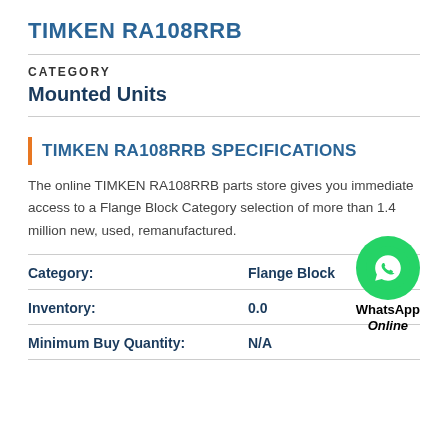TIMKEN RA108RRB
CATEGORY
Mounted Units
TIMKEN RA108RRB SPECIFICATIONS
The online TIMKEN RA108RRB parts store gives you immediate access to a Flange Block Category selection of more than 1.4 million new, used, remanufactured.
| Field | Value |
| --- | --- |
| Category: | Flange Block |
| Inventory: | 0.0 |
| Minimum Buy Quantity: | N/A |